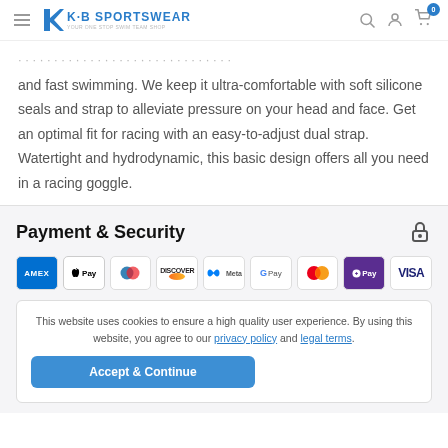K·B Sportswear – Your one stop swim team shop
and fast swimming. We keep it ultra-comfortable with soft silicone seals and strap to alleviate pressure on your head and face. Get an optimal fit for racing with an easy-to-adjust dual strap. Watertight and hydrodynamic, this basic design offers all you need in a racing goggle.
Payment & Security
[Figure (other): Payment method icons: American Express (AMEX), Apple Pay, Diners Club, Discover, Meta Pay, Google Pay, Mastercard, Shop Pay, Visa]
This website uses cookies to ensure a high quality user experience. By using this website, you agree to our privacy policy and legal terms.
Accept & Continue